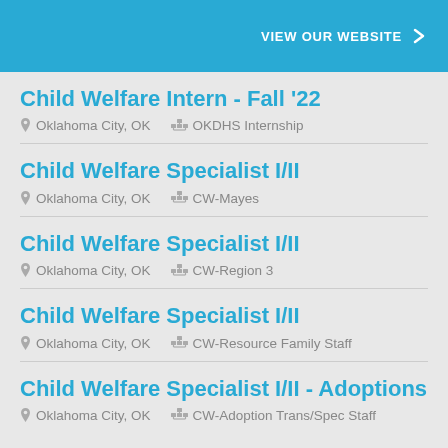VIEW OUR WEBSITE
Child Welfare Intern - Fall '22
Oklahoma City, OK   OKDHS Internship
Child Welfare Specialist I/II
Oklahoma City, OK   CW-Mayes
Child Welfare Specialist I/II
Oklahoma City, OK   CW-Region 3
Child Welfare Specialist I/II
Oklahoma City, OK   CW-Resource Family Staff
Child Welfare Specialist I/II - Adoptions
Oklahoma City, OK   CW-Adoption Trans/Spec Staff